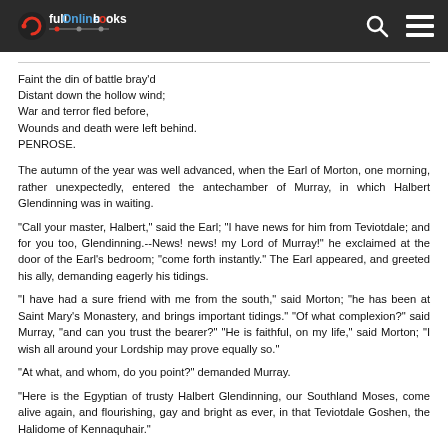Full Online Books
Faint the din of battle bray'd
Distant down the hollow wind;
War and terror fled before,
Wounds and death were left behind.
PENROSE.
The autumn of the year was well advanced, when the Earl of Morton, one morning, rather unexpectedly, entered the antechamber of Murray, in which Halbert Glendinning was in waiting.
"Call your master, Halbert," said the Earl; "I have news for him from Teviotdale; and for you too, Glendinning.--News! news! my Lord of Murray!" he exclaimed at the door of the Earl's bedroom; "come forth instantly." The Earl appeared, and greeted his ally, demanding eagerly his tidings.
"I have had a sure friend with me from the south," said Morton; "he has been at Saint Mary's Monastery, and brings important tidings." "Of what complexion?" said Murray, "and can you trust the bearer?" "He is faithful, on my life," said Morton; "I wish all around your Lordship may prove equally so."
"At what, and whom, do you point?" demanded Murray.
"Here is the Egyptian of trusty Halbert Glendinning, our Southland Moses, come alive again, and flourishing, gay and bright as ever, in that Teviotdale Goshen, the Halidome of Kennaquhair."
"Ah, to—